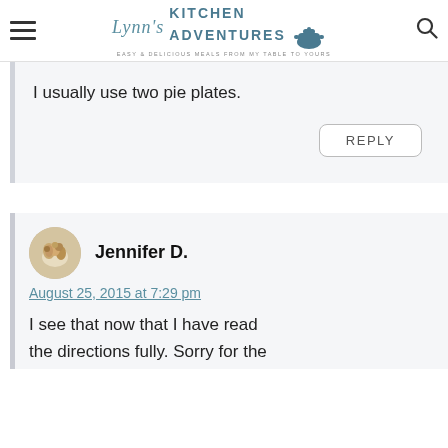Lynn's Kitchen Adventures — Easy & Delicious Meals From My Table To Yours
I usually use two pie plates.
REPLY
Jennifer D.
August 25, 2015 at 7:29 pm
I see that now that I have read the directions fully. Sorry for the